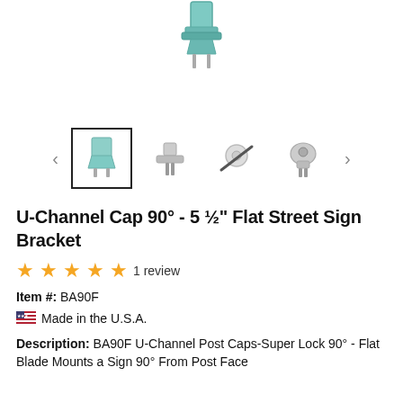[Figure (photo): Main product image of U-Channel Cap 90-degree bracket, metallic silver-green color, partially visible at top]
[Figure (photo): Thumbnail image carousel with 4 product images and left/right navigation arrows. First thumbnail (selected with border) shows bracket angle, second shows front view, third shows bracket with bolt, fourth shows bracket assembled.]
U-Channel Cap 90° - 5 ½" Flat Street Sign Bracket
★★★★★ 1 review
Item #: BA90F
🇺🇸 Made in the U.S.A.
Description: BA90F U-Channel Post Caps-Super Lock 90° - Flat Blade Mounts a Sign 90° From Post Face